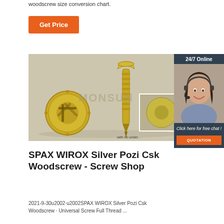woodscrew size conversion chart.
Get Price
[Figure (photo): Photo of two gold/brass colored SPAX woodscrews — one shown flat (top view of head with Pozi recess) and one upright showing the threaded shank. Watermark text 'MONSUN' visible. Inset image shows screw head close-up with text 'with rib under'.]
[Figure (photo): Sidebar showing a customer service representative wearing a headset, smiling. Dark navy background with '24/7 Online' header, 'Click here for free chat!' text, and orange 'QUOTATION' button.]
SPAX WIROX Silver Pozi Csk Woodscrew - Screw Shop
2021-9-30u2002·u2002SPAX WIROX Silver Pozi Csk Woodscrew · Universal Screw Full Thread ...